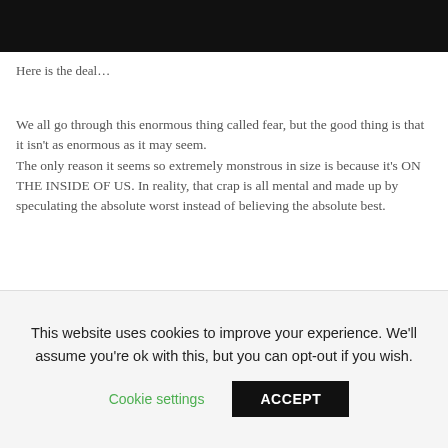[Figure (photo): Dark/black banner image at top of page]
Here is the deal…
We all go through this enormous thing called fear, but the good thing is that it isn't as enormous as it may seem. The only reason it seems so extremely monstrous in size is because it's ON THE INSIDE OF US. In reality, that crap is all mental and made up by speculating the absolute worst instead of believing the absolute best.
It's a perspective kind of thing. Even while writing this, I have been having negative speculations or fearful thoughts before releasing this simple article. Crazy right?
This website uses cookies to improve your experience. We'll assume you're ok with this, but you can opt-out if you wish.
Cookie settings   ACCEPT